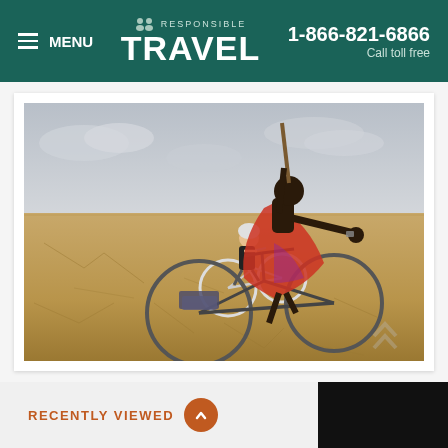MENU | RESPONSIBLE TRAVEL | 1-866-821-6866 Call toll free
[Figure (photo): Two cyclists riding bicycles across a cracked, arid desert landscape. In the foreground, a Maasai man in traditional red clothing holds a wooden staff and gestures with his hand while riding a bicycle loaded with bags. In the background, a woman in cycling gear (helmet, black top, shorts) rides a white mountain bicycle.]
RECENTLY VIEWED